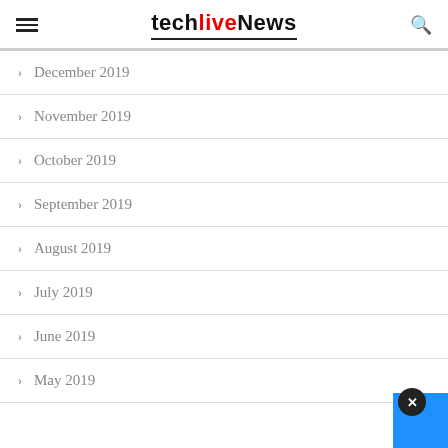techlivenews
December 2019
November 2019
October 2019
September 2019
August 2019
July 2019
June 2019
May 2019